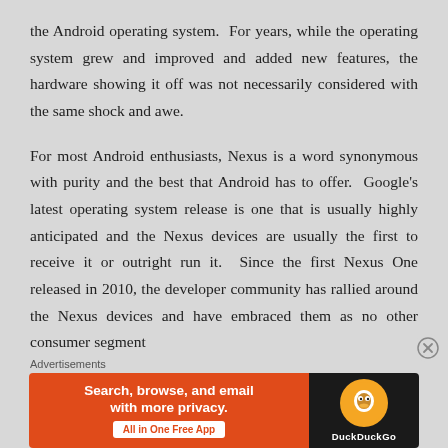the Android operating system.  For years, while the operating system grew and improved and added new features, the hardware showing it off was not necessarily considered with the same shock and awe.

For most Android enthusiasts, Nexus is a word synonymous with purity and the best that Android has to offer.  Google's latest operating system release is one that is usually highly anticipated and the Nexus devices are usually the first to receive it or outright run it.  Since the first Nexus One released in 2010, the developer community has rallied around the Nexus devices and have embraced them as no other consumer segment
Advertisements
[Figure (other): DuckDuckGo advertisement banner: orange left panel with text 'Search, browse, and email with more privacy.' and button 'All in One Free App', black right panel with DuckDuckGo logo and brand name.]